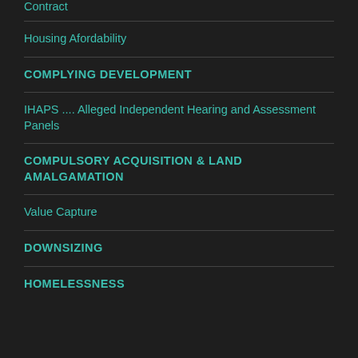Contract
Housing Afordability
COMPLYING DEVELOPMENT
IHAPS .... Alleged Independent Hearing and Assessment Panels
COMPULSORY ACQUISITION & LAND AMALGAMATION
Value Capture
DOWNSIZING
HOMELESSNESS